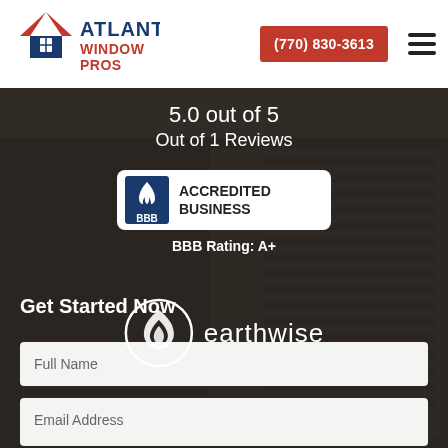[Figure (logo): Atlanta Window Pros logo with house/roof icon in red and blue, company name in blue and red bold text]
(770) 830-3613
5.0 out of 5
Out of 1 Reviews
[Figure (logo): BBB Accredited Business badge with flame logo, text: ACCREDITED BUSINESS, BBB]
BBB Rating: A+
[Figure (logo): Earthwise logo: white circular leaf/flame icon with text 'earthwise']
Get Started Now
Full Name
Email Address